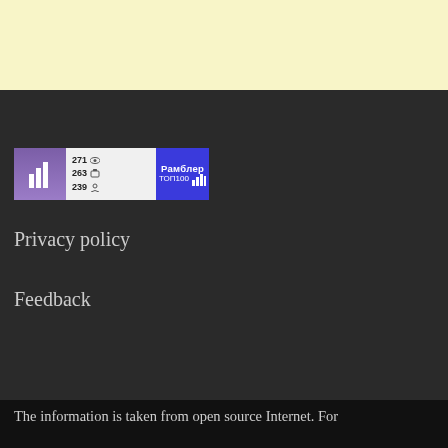[Figure (other): Yellow/cream colored banner area at the top of the page]
[Figure (logo): Rambler TOP100 widget badge showing statistics: 271 views, 263 entries, 239 visitors, with purple left section showing bar chart icon, white middle section with stats, and blue right section with Rambler ТОП100 text and bar chart icon]
Privacy policy
Feedback
The information is taken from open source Internet. For